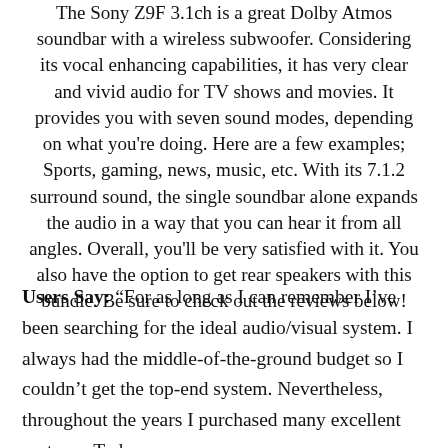The Sony Z9F 3.1ch is a great Dolby Atmos soundbar with a wireless subwoofer. Considering its vocal enhancing capabilities, it has very clear and vivid audio for TV shows and movies. It provides you with seven sound modes, depending on what you're doing. Here are a few examples; Sports, gaming, news, music, etc. With its 7.1.2 surround sound, the single soundbar alone expands the audio in a way that you can hear it from all angles. Overall, you'll be very satisfied with it. You also have the option to get rear speakers with this bundle. Be sure to check out the reviews below!
Users Say: “For as long as I can remember I've been searching for the ideal audio/visual system. I always had the middle-of-the-ground budget so I couldn't get the top-end system. Nevertheless, throughout the years I purchased many excellent systems. Today